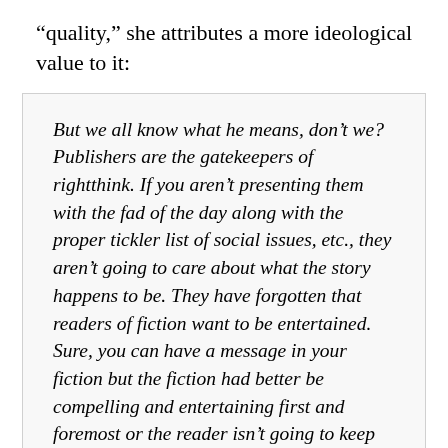“quality,” she attributes a more ideological value to it:
But we all know what he means, don’t we? Publishers are the gatekeepers of rightthink. If you aren’t presenting them with the fad of the day along with the proper tickler list of social issues, etc., they aren’t going to care about what the story happens to be. They have forgotten that readers of fiction want to be entertained. Sure, you can have a message in your fiction but the fiction had better be compelling and entertaining first and foremost or the reader isn’t going to keep buying your product.